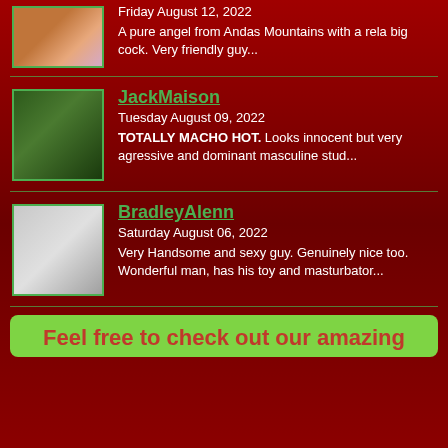[Figure (photo): Profile photo of a man outdoors]
Friday August 12, 2022
A pure angel from Andas Mountains with a rela big cock. Very friendly guy...
[Figure (photo): Profile photo of JackMaison outdoors]
JackMaison
Tuesday August 09, 2022
TOTALLY MACHO HOT. Looks innocent but very agressive and dominant masculine stud...
[Figure (photo): Profile photo of BradleyAlenn]
BradleyAlenn
Saturday August 06, 2022
Very Handsome and sexy guy. Genuinely nice too. Wonderful man, has his toy and masturbator...
Feel free to check out our amazing